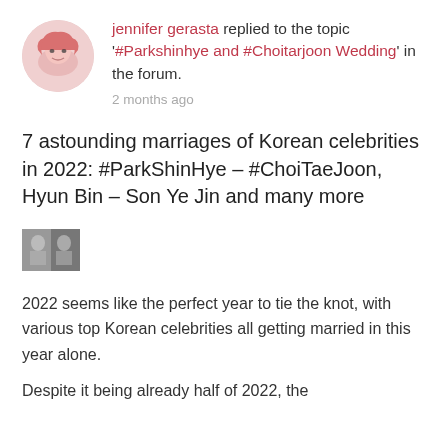jennifer gerasta replied to the topic '#Parkshinhye and #Choitarjoon Wedding' in the forum.
2 months ago
7 astounding marriages of Korean celebrities in 2022: #ParkShinHye – #ChoiTaeJoon, Hyun Bin – Son Ye Jin and many more
[Figure (photo): Small thumbnail image of a couple]
2022 seems like the perfect year to tie the knot, with various top Korean celebrities all getting married in this year alone.
Despite it being already half of 2022, the